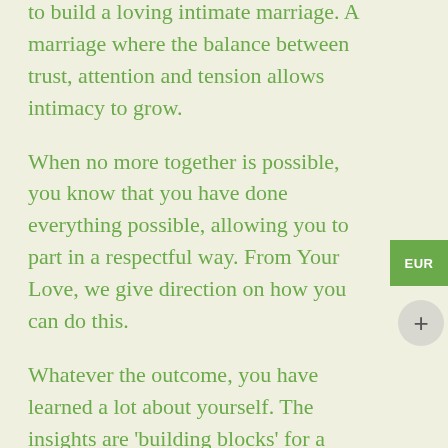to build a loving intimate marriage. A marriage where the balance between trust, attention and tension allows intimacy to grow.
When no more together is possible, you know that you have done everything possible, allowing you to part in a respectful way. From Your Love, we give direction on how you can do this.
Whatever the outcome, you have learned a lot about yourself. The insights are 'building blocks' for a happy life, because you too are entitled to happiness!